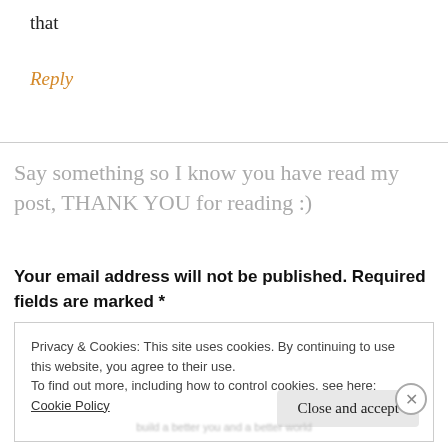that
Reply
Say something so I know you have read my post, THANK YOU for reading :)
Your email address will not be published. Required fields are marked *
Privacy & Cookies: This site uses cookies. By continuing to use this website, you agree to their use. To find out more, including how to control cookies, see here: Cookie Policy
Close and accept